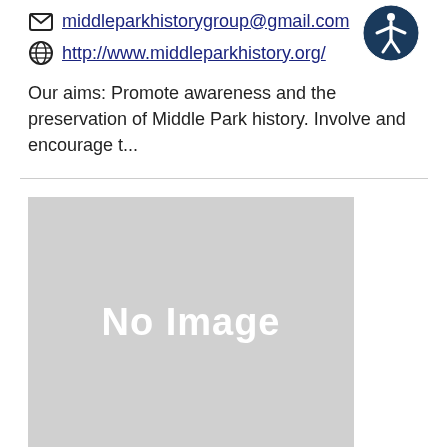middleparkhistorygroup@gmail.com
http://www.middleparkhistory.org/
Our aims: Promote awareness and the preservation of Middle Park history. Involve and encourage t...
[Figure (illustration): No Image placeholder box — grey rectangle with white 'No Image' text]
[Figure (logo): Accessibility icon — blue circle with white human figure and outstretched arms]